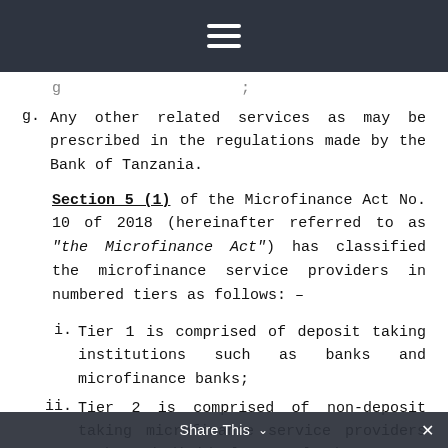≡ (hamburger menu icon)
g. Any other related services as may be prescribed in the regulations made by the Bank of Tanzania.
Section 5 (1) of the Microfinance Act No. 10 of 2018 (hereinafter referred to as "the Microfinance Act") has classified the microfinance service providers in numbered tiers as follows: –
i. Tier 1 is comprised of deposit taking institutions such as banks and microfinance banks;
ii. Tier 2 is comprised of non-deposit taking microfinance service providers such as individual money lenders;
iii. Tier 3 is comprised of SACCOs (The Savings and Credit Co-operative Societies); and
Share This ∨  ×